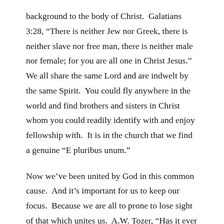background to the body of Christ.  Galatians 3:28, “There is neither Jew nor Greek, there is neither slave nor free man, there is neither male nor female; for you are all one in Christ Jesus.”  We all share the same Lord and are indwelt by the same Spirit.  You could fly anywhere in the world and find brothers and sisters in Christ whom you could readily identify with and enjoy fellowship with.  It is in the church that we find a genuine “E pluribus unum.”
Now we’ve been united by God in this common cause.  And it’s important for us to keep our focus.  Because we are all to prone to lose sight of that which unites us.  A.W. Tozer, “Has it ever occurred to you that one hundred pianos all tuned to the same fork are automatically tuned to each other? They are of one accord by being tuned, not to each other, but to another standard to which each one must individually bow. So, one